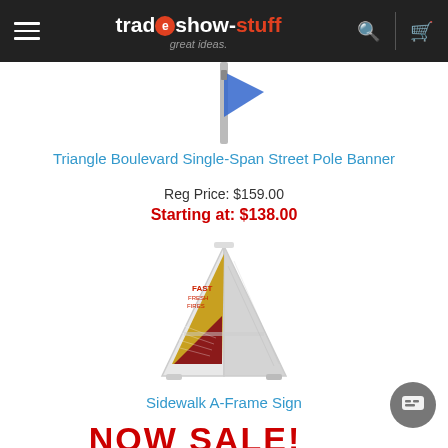tradeshow-stuff great ideas.
[Figure (photo): Partial view of Triangle Boulevard Single-Span Street Pole Banner product photo]
Triangle Boulevard Single-Span Street Pole Banner
Reg Price: $159.00
Starting at: $138.00
[Figure (photo): Sidewalk A-Frame Sign product photo showing a white A-frame with a Fast Food themed menu sign insert]
Sidewalk A-Frame Sign
NOW SALE!